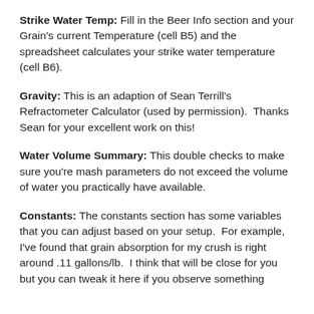Strike Water Temp: Fill in the Beer Info section and your Grain's current Temperature (cell B5) and the spreadsheet calculates your strike water temperature (cell B6).
Gravity: This is an adaption of Sean Terrill's Refractometer Calculator (used by permission).  Thanks Sean for your excellent work on this!
Water Volume Summary: This double checks to make sure you're mash parameters do not exceed the volume of water you practically have available.
Constants: The constants section has some variables that you can adjust based on your setup.  For example, I've found that grain absorption for my crush is right around .11 gallons/lb.  I think that will be close for you but you can tweak it here if you observe something